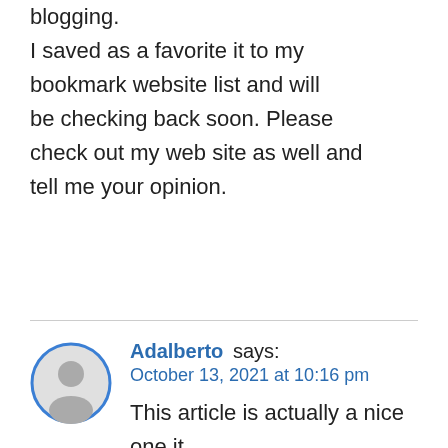blogging. I saved as a favorite it to my bookmark website list and will be checking back soon. Please check out my web site as well and tell me your opinion.
Adalberto says: October 13, 2021 at 10:16 pm
This article is actually a nice one it helps new the web users, who are wishing in favor of blogging.